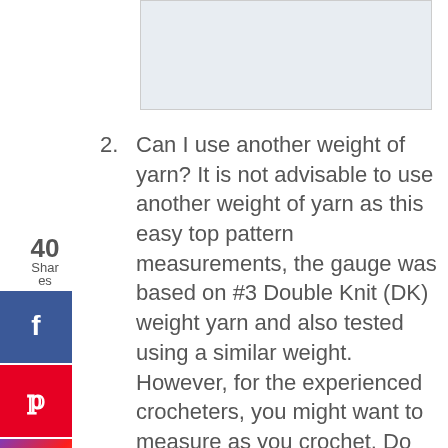[Figure (photo): Partial cropped image at the top of the page]
Can I use another weight of yarn? It is not advisable to use another weight of yarn as this easy top pattern measurements, the gauge was based on #3 Double Knit (DK) weight yarn and also tested using a similar weight. However, for the experienced crocheters, you might want to measure as you crochet. Do bear in mind that if you use any other weight of yarn, you might need to adjust your starting chains and the number of repeats.
I have never made a crochet top with beads or sequins before, how easy is this pattern? This is my very garment designed using beads and sequins but I can assure you, it won't be my